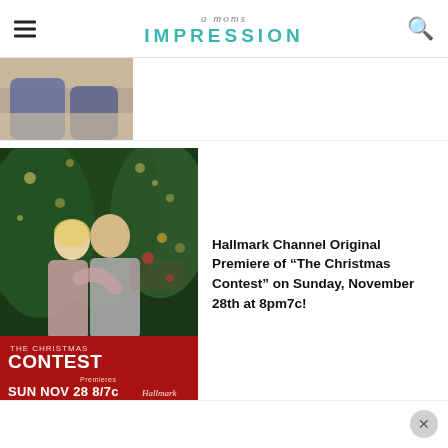a moms IMPRESSION
[Figure (photo): Partial photo showing legs/lower body of person on a couch or chair, cropped at top]
[Figure (photo): Hallmark Channel movie poster for 'The Christmas Contest' premiering SUN NOV 28 8/7c, showing a couple embracing in front of a Christmas tree]
Hallmark Channel Original Premiere of “The Christmas Contest” on Sunday, November 28th at 8pm7c!